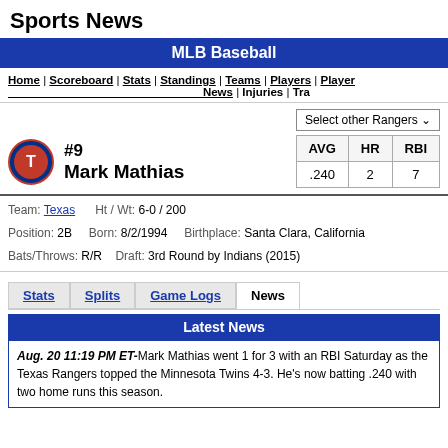Sports News
MLB Baseball
Home | Scoreboard | Stats | Standings | Teams | Players | Player News | Injuries | Tra
Select other Rangers
| AVG | HR | RBI |
| --- | --- | --- |
| .240 | 2 | 7 |
#9 Mark Mathias
Team: Texas   Ht / Wt: 6-0 / 200
Position: 2B   Born: 8/2/1994   Birthplace: Santa Clara, California
Bats/Throws: R/R   Draft: 3rd Round by Indians (2015)
Stats | Splits | Game Logs | News
Latest News
Aug. 20 11:19 PM ET-Mark Mathias went 1 for 3 with an RBI Saturday as the Texas Rangers topped the Minnesota Twins 4-3. He's now batting .240 with two home runs this season.